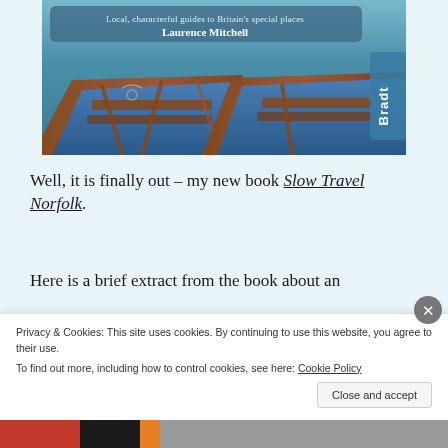[Figure (photo): Book cover for Slow Travel Norfolk by Laurence Mitchell, published by Bradt. Shows wooden rowing boats with blue interior. A banner reads 'Local, characterful guides to Britain's special places' and 'Laurence Mitchell'. Bradt publisher logo on the right side.]
Well, it is finally out – my new book Slow Travel Norfolk.
Here is a brief extract from the book about an
Privacy & Cookies: This site uses cookies. By continuing to use this website, you agree to their use.
To find out more, including how to control cookies, see here: Cookie Policy
Close and accept